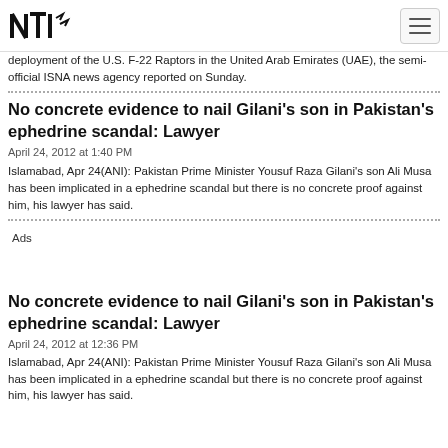NTI logo and navigation
deployment of the U.S. F-22 Raptors in the United Arab Emirates (UAE), the semi-official ISNA news agency reported on Sunday.
No concrete evidence to nail Gilani's son in Pakistan's ephedrine scandal: Lawyer
April 24, 2012 at 1:40 PM
Islamabad, Apr 24(ANI): Pakistan Prime Minister Yousuf Raza Gilani's son Ali Musa has been implicated in a ephedrine scandal but there is no concrete proof against him, his lawyer has said.
Ads
No concrete evidence to nail Gilani's son in Pakistan's ephedrine scandal: Lawyer
April 24, 2012 at 12:36 PM
Islamabad, Apr 24(ANI): Pakistan Prime Minister Yousuf Raza Gilani's son Ali Musa has been implicated in a ephedrine scandal but there is no concrete proof against him, his lawyer has said.